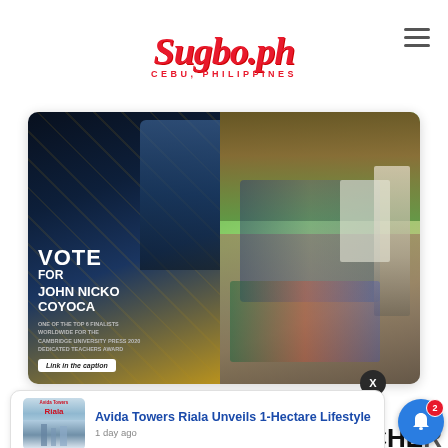Sugbo.ph — CEBU, PHILIPPINES
[Figure (photo): Two-panel image: Left panel shows a promotional card with text 'VOTE FOR JOHN NICKO COYOCA — ONE OF THE TOP 6 FINALISTS WORLDWIDE FOR THE CAMBRIDGE UNIVERSITY PRESS 2020 DEDICATED TEACHERS AWARD' with a man in a blue suit. Right panel shows a classroom/workshop scene outdoors with a presenter and seated audience.]
[Figure (other): Close button circle with X]
[Figure (photo): Advertisement thumbnail for Avida Towers Riala showing a building photo]
Avida Towers Riala Unveils 1-Hectare Lifestyle
1 day ago
THE EACHER
AWARD IN CAMBRIDGE